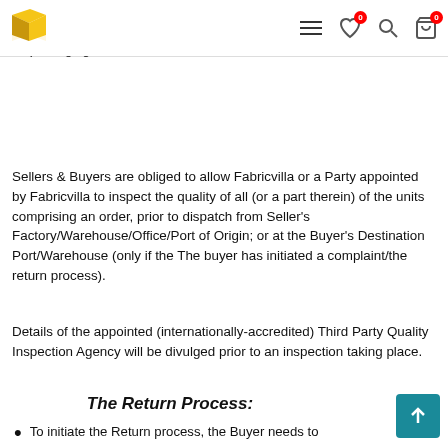Fabricvilla header with logo and navigation icons
Defective units/products comprising an order/shipment must be in its original condition, with original tags still on, and in the original packaging.
Sellers & Buyers are obliged to allow Fabricvilla or a Party appointed by Fabricvilla to inspect the quality of all (or a part therein) of the units comprising an order, prior to dispatch from Seller's Factory/Warehouse/Office/Port of Origin; or at the Buyer's Destination Port/Warehouse (only if the The buyer has initiated a complaint/the return process).
Details of the appointed (internationally-accredited) Third Party Quality Inspection Agency will be divulged prior to an inspection taking place.
The Return Process:
To initiate the Return process, the Buyer needs to